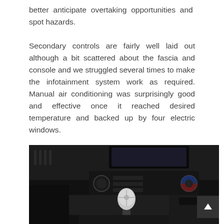better anticipate overtaking opportunities and spot hazards.
Secondary controls are fairly well laid out although a bit scattered about the fascia and console and we struggled several times to make the infotainment system work as required. Manual air conditioning was surprisingly good and effective once it reached desired temperature and backed up by four electric windows.
[Figure (photo): Interior photo of a car showing the gear shift knob in the foreground and the center console with climate control dials and dashboard controls in the background. Dark interior tones.]